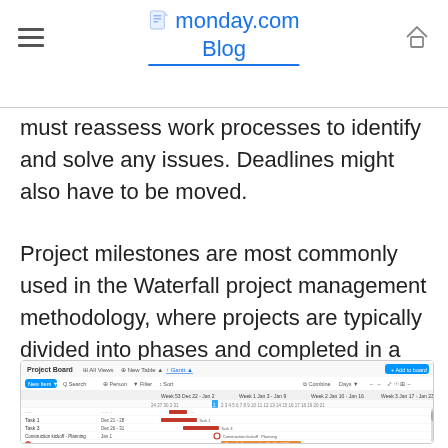monday.com Blog
must reassess work processes to identify and solve any issues. Deadlines might also have to be moved.
Project milestones are most commonly used in the Waterfall project management methodology, where projects are typically divided into phases and completed in a pre-defined order.
[Figure (screenshot): Screenshot of monday.com Project Board with Gantt chart view showing project phases, tasks with date ranges (Dec 21-28, Dec 26-31, Jan 1, Jan 1-9), milestones, and Phase 1 and Phase 2 labels with colored task bars.]